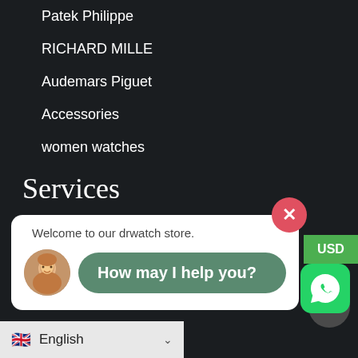Patek Philippe
RICHARD MILLE
Audemars Piguet
Accessories
women watches
Services
FAQs
Contact us
Track my order
[Figure (screenshot): USD currency button (green)]
[Figure (screenshot): Plus button (dark circle)]
[Figure (screenshot): Chat popup with avatar and message 'How may I help you?']
[Figure (screenshot): WhatsApp button (green, rounded square)]
[Figure (screenshot): Language selector showing English with UK flag]